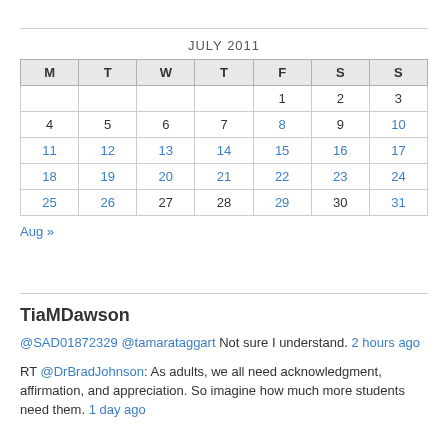JULY 2011
| M | T | W | T | F | S | S |
| --- | --- | --- | --- | --- | --- | --- |
|  |  |  |  | 1 | 2 | 3 |
| 4 | 5 | 6 | 7 | 8 | 9 | 10 |
| 11 | 12 | 13 | 14 | 15 | 16 | 17 |
| 18 | 19 | 20 | 21 | 22 | 23 | 24 |
| 25 | 26 | 27 | 28 | 29 | 30 | 31 |
Aug »
TiaMDawson
@SAD01872329 @tamarataggart Not sure I understand. 2 hours ago
RT @DrBradJohnson: As adults, we all need acknowledgment, affirmation, and appreciation. So imagine how much more students need them. 1 day ago